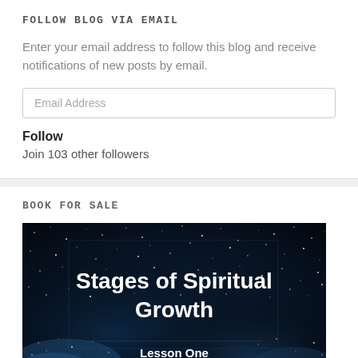FOLLOW BLOG VIA EMAIL
Enter your email address to follow this blog and receive notifications of new posts by email.
Email Address
Follow
Join 103 other followers
BOOK FOR SALE
[Figure (illustration): Book cover for 'Stages of Spiritual Growth, Lesson One, Journey of Spiritual Realization Series' with a dark starry night sky background and white bold text.]